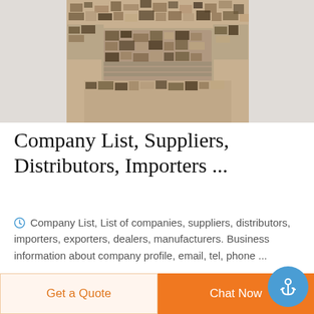[Figure (photo): Camouflage tactical vest/body armor shown from the front, desert digital camo pattern, photographed on white background]
Company List, Suppliers, Distributors, Importers ...
Company List, List of companies, suppliers, distributors, importers, exporters, dealers, manufacturers. Business information about company profile, email, tel, phone ...
[Figure (logo): DEEKON logo with circular camouflage target icon and red D letter, red bold text DEEKON below]
[Figure (photo): White garment/jacket product photo]
Get a Quote
Chat Now